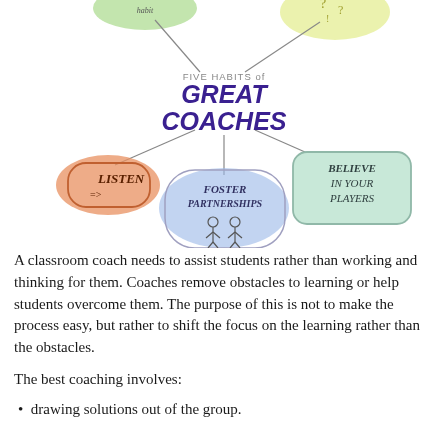[Figure (infographic): Mind-map style illustration titled 'Five Habits of Great Coaches' with hand-drawn speech bubbles. Central text reads 'FIVE HABITS of GREAT COACHES' in purple bold lettering. Connected nodes include: an orange blob labeled 'LISTEN', a blue blob labeled 'FOSTER PARTNERSHIPS' with stick figures, a teal/mint rectangle labeled 'BELIEVE IN YOUR PLAYERS', and partially visible green and yellow blobs at the top.]
A classroom coach needs to assist students rather than working and thinking for them. Coaches remove obstacles to learning or help students overcome them. The purpose of this is not to make the process easy, but rather to shift the focus on the learning rather than the obstacles.
The best coaching involves:
drawing solutions out of the group.